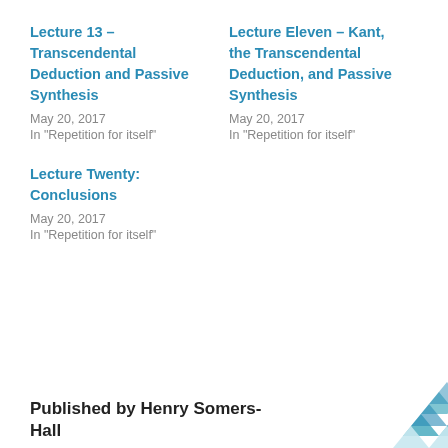Lecture 13 – Transcendental Deduction and Passive Synthesis
May 20, 2017
In "Repetition for itself"
Lecture Eleven – Kant, the Transcendental Deduction, and Passive Synthesis
May 20, 2017
In "Repetition for itself"
Lecture Twenty: Conclusions
May 20, 2017
In "Repetition for itself"
Published by Henry Somers-Hall